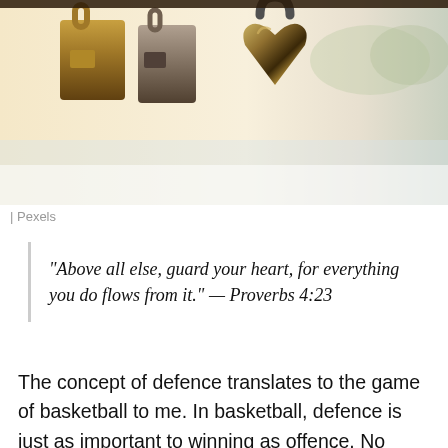[Figure (photo): Close-up photo of padlocks on a railing, including a heart-shaped padlock in the center, with a blurred outdoor background showing trees and water/sky]
| Pexels
"Above all else, guard your heart, for everything you do flows from it." — Proverbs 4:23
The concept of defence translates to the game of basketball to me. In basketball, defence is just as important to winning as offence. No matter how